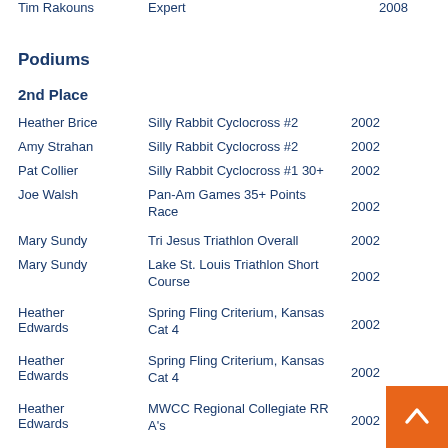Tim Rakouns  Expert  2008
Podiums
2nd Place
| Name | Event | Year |
| --- | --- | --- |
| Heather Brice | Silly Rabbit Cyclocross #2 | 2002 |
| Amy Strahan | Silly Rabbit Cyclocross #2 | 2002 |
| Pat Collier | Silly Rabbit Cyclocross #1 30+ | 2002 |
| Joe Walsh | Pan-Am Games 35+ Points Race | 2002 |
| Mary Sundy | Tri Jesus Triathlon Overall | 2002 |
| Mary Sundy | Lake St. Louis Triathlon Short Course | 2002 |
| Heather Edwards | Spring Fling Criterium, Kansas Cat 4 | 2002 |
| Heather Edwards | Spring Fling Criterium, Kansas Cat 4 | 2002 |
| Heather Edwards | MWCC Regional Collegiate RR A's | 2002 |
| Heather Edwards | Indiana/Kentucky RR Women Open | 2002 |
| Heather Edwards | Apple Pie Road Rally Women Open | 2002 |